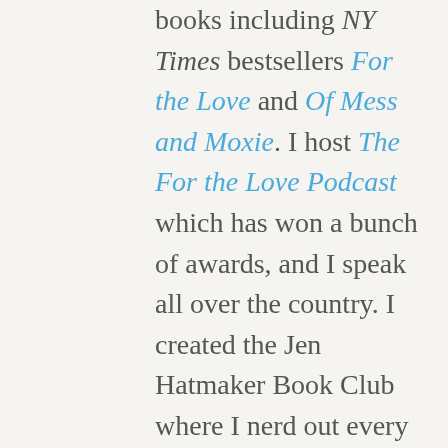books including NY Times bestsellers For the Love and Of Mess and Moxie. I host The For the Love Podcast which has won a bunch of awards, and I speak all over the country. I created the Jen Hatmaker Book Club where I nerd out every month with thousands of women who believe good books are everything and stories still matter. I lead an online community of millions of women, and they are my life force, personal think tank, and comic relief.

The low-level stuff: I still use a paper calendar which you will pry out of my cold, dead hands. I also use my original AOL